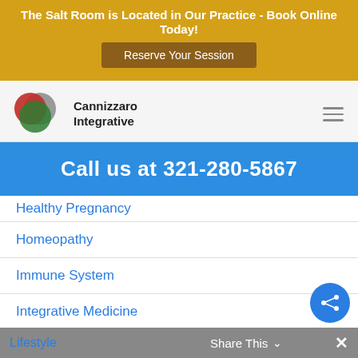The Salt Room is Located in Our Practice - Book Online Today!
Reserve Your Session
[Figure (logo): Cannizzaro Integrative logo with overlapping red, green, and grey circles]
Cannizzaro Integrative
Call us at 321-280-5867
Healthy Pregnancy
Homeopathy
Immune System
Integrative Medicine
Learning
Lifestyle   Share This ∨   ✕